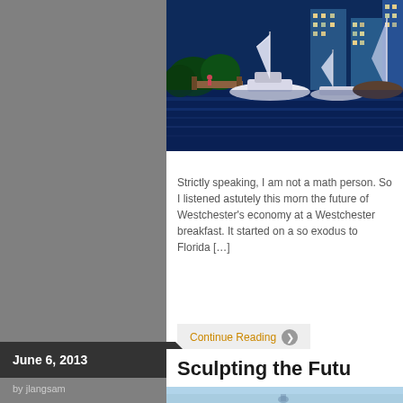[Figure (photo): Marina/waterfront scene at dusk with boats docked at a pier, blue water reflections, modern high-rise buildings lit up in the background, trees visible]
Strictly speaking, I am not a math person. So I listened astutely this morning the future of Westchester's economy at a Westchester breakfast. It started on a so exodus to Florida […]
Continue Reading ❯
June 6, 2013
by jlangsam
Sculpting the Futu…
[Figure (photo): Partial view of a second post's header image, light blue/sky tones visible at bottom of page]